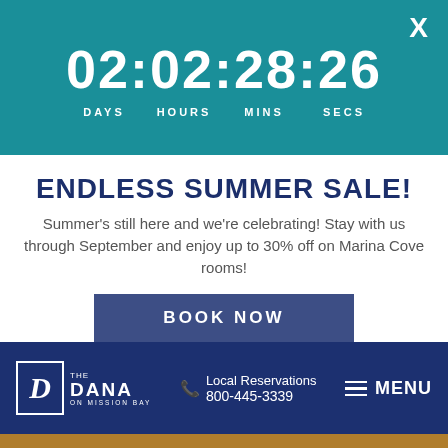[Figure (screenshot): Teal countdown timer banner showing 02:02:28:26 with labels DAYS HOURS MINS SECS and a close X button]
ENDLESS SUMMER SALE!
Summer's still here and we're celebrating! Stay with us through September and enjoy up to 30% off on Marina Cove rooms!
BOOK NOW
[Figure (logo): The Dana on Mission Bay logo with Local Reservations phone number 800-445-3339 and MENU navigation]
BOOK NOW